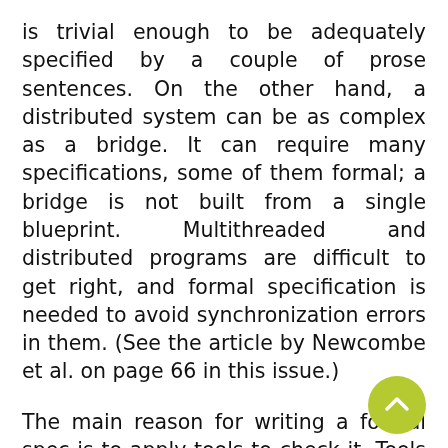is trivial enough to be adequately specified by a couple of prose sentences. On the other hand, a distributed system can be as complex as a bridge. It can require many specifications, some of them formal; a bridge is not built from a single blueprint. Multithreaded and distributed programs are difficult to get right, and formal specification is needed to avoid synchronization errors in them. (See the article by Newcombe et al. on page 66 in this issue.)
The main reason for writing a formal spec is to apply tools to check it. Tools cannot find design errors in informal specifications. Even if you do not need to write formal specs, you should learn how. When you do need to write one, you will not have time to learn how. In the past dozen years, I have written formal specs of my code about a half dozen times. For example, I once had to write code that computed the connected components of a graph. I found a standard algorithm, but it required some small modifications for my use. The changes seemed simple enough, but I decided to specify and